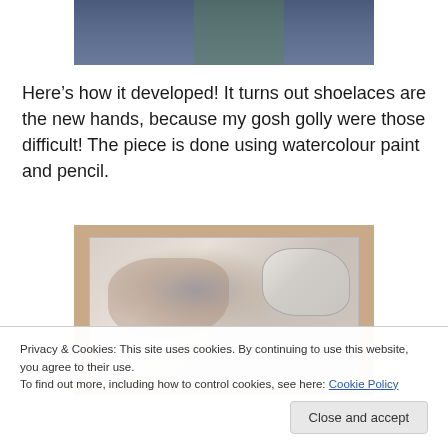[Figure (photo): Cropped photo showing person's feet/legs in blue jeans and shoes, viewed from above]
Here's how it developed! It turns out shoelaces are the new hands, because my gosh golly were those difficult! The piece is done using watercolour paint and pencil.
[Figure (photo): Watercolour and pencil artwork in progress on brown board, showing feet with blue/grey washes and a white crumpled object in upper right]
Privacy & Cookies: This site uses cookies. By continuing to use this website, you agree to their use.
To find out more, including how to control cookies, see here: Cookie Policy
Close and accept